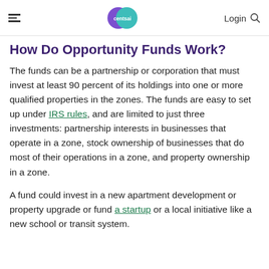centsai — Login
How Do Opportunity Funds Work?
The funds can be a partnership or corporation that must invest at least 90 percent of its holdings into one or more qualified properties in the zones. The funds are easy to set up under IRS rules, and are limited to just three investments: partnership interests in businesses that operate in a zone, stock ownership of businesses that do most of their operations in a zone, and property ownership in a zone.
A fund could invest in a new apartment development or property upgrade or fund a startup or a local initiative like a new school or transit system.